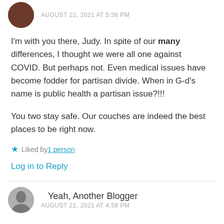AUGUST 22, 2021 AT 5:38 PM
I'm with you there, Judy. In spite of our many differences, I thought we were all one against COVID. But perhaps not. Even medical issues have become fodder for partisan divide. When in G-d's name is public health a partisan issue?!!!
You two stay safe. Our couches are indeed the best places to be right now.
Liked by 1 person
Log in to Reply
Yeah, Another Blogger
AUGUST 22, 2021 AT 4:58 PM